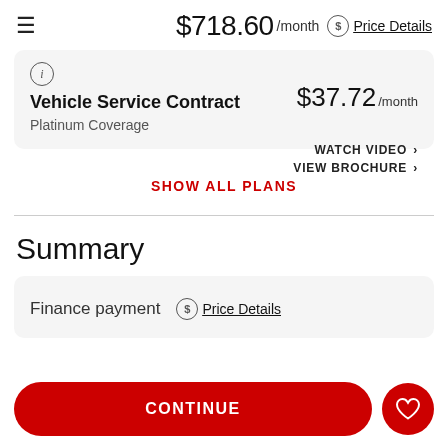$718.60 /month Price Details
Vehicle Service Contract $37.72 /month
Platinum Coverage
WATCH VIDEO
VIEW BROCHURE
SHOW ALL PLANS
Summary
Finance payment  Price Details
CONTINUE